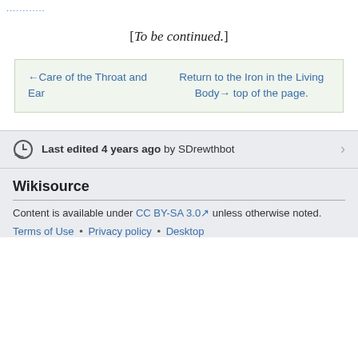............
[To be continued.]
←Care of the Throat and Ear   Return to the Iron in the Living Body→ top of the page.
Last edited 4 years ago by SDrewthbot
Wikisource
Content is available under CC BY-SA 3.0 unless otherwise noted.
Terms of Use • Privacy policy • Desktop